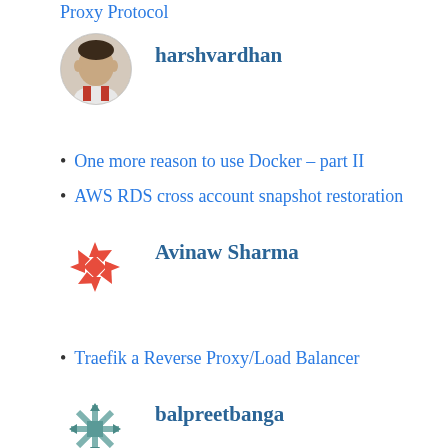Proxy Protocol
[Figure (photo): Avatar photo of harshvardhan]
harshvardhan
One more reason to use Docker – part II
AWS RDS cross account snapshot restoration
[Figure (logo): Avatar logo of Avinaw Sharma (red geometric pattern)]
Avinaw Sharma
Traefik a Reverse Proxy/Load Balancer
[Figure (logo): Avatar logo of balpreetbanga (teal/grey geometric pattern)]
balpreetbanga
Explore More on StatefulSets in K8s
[Figure (illustration): Avatar illustration of Bhupender rawat (cartoon character)]
Bhupender rawat